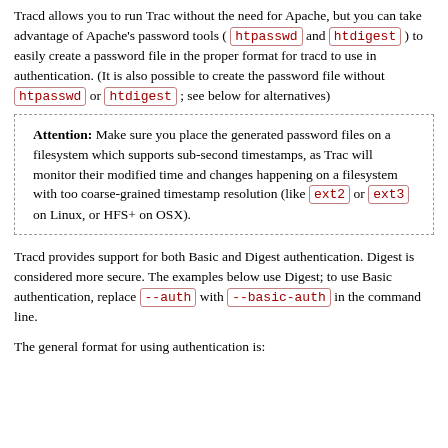Tracd allows you to run Trac without the need for Apache, but you can take advantage of Apache's password tools ( htpasswd and htdigest ) to easily create a password file in the proper format for tracd to use in authentication. (It is also possible to create the password file without htpasswd or htdigest ; see below for alternatives)
Attention: Make sure you place the generated password files on a filesystem which supports sub-second timestamps, as Trac will monitor their modified time and changes happening on a filesystem with too coarse-grained timestamp resolution (like ext2 or ext3 on Linux, or HFS+ on OSX).
Tracd provides support for both Basic and Digest authentication. Digest is considered more secure. The examples below use Digest; to use Basic authentication, replace --auth with --basic-auth in the command line.
The general format for using authentication is: